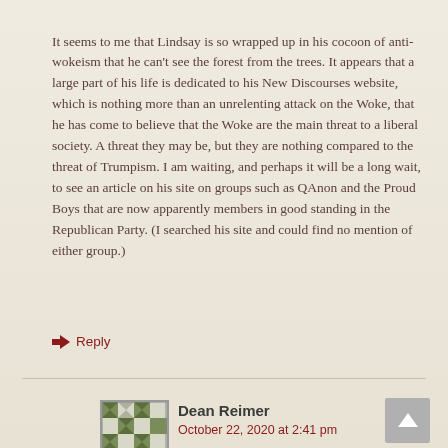It seems to me that Lindsay is so wrapped up in his cocoon of anti-wokeism that he can't see the forest from the trees. It appears that a large part of his life is dedicated to his New Discourses website, which is nothing more than an unrelenting attack on the Woke, that he has come to believe that the Woke are the main threat to a liberal society. A threat they may be, but they are nothing compared to the threat of Trumpism. I am waiting, and perhaps it will be a long wait, to see an article on his site on groups such as QAnon and the Proud Boys that are now apparently members in good standing in the Republican Party. (I searched his site and could find no mention of either group.)
Reply
Dean Reimer
October 22, 2020 at 2:41 pm